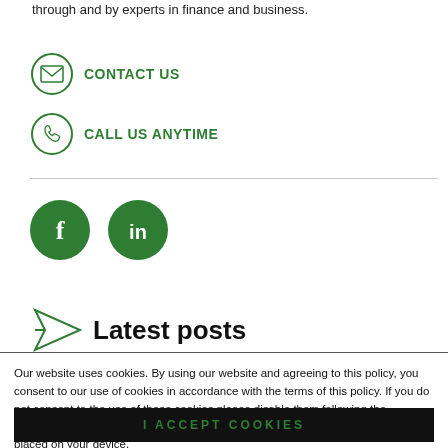through and by experts in finance and business.
CONTACT US
CALL US ANYTIME
[Figure (infographic): Social media icons: Facebook (f) and LinkedIn (in) as dark green filled circles with white logos]
Latest posts
Our website uses cookies. By using our website and agreeing to this policy, you consent to our use of cookies in accordance with the terms of this policy. If you do not consent to the use of these cookies please disable them following the instructions in this Cookie Notice so that cookies from this website cannot be placed on your device.
I ACCEPT COOKIES